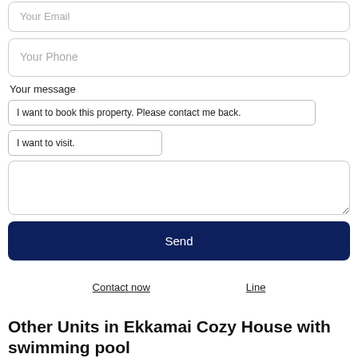Your Email
Your Phone
Your message
I want to book this property. Please contact me back.
I want to visit.
Send
Contact now
Line
Other Units in Ekkamai Cozy House with swimming pool